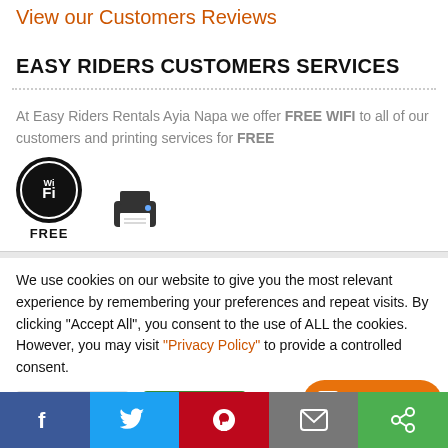View our Customers Reviews
EASY RIDERS CUSTOMERS SERVICES
At Easy Riders Rentals Ayia Napa we offer FREE WIFI to all of our customers and printing services for FREE
[Figure (illustration): WiFi FREE badge (black circle with Wi-Fi text) and printer icon]
We use cookies on our website to give you the most relevant experience by remembering your preferences and repeat visits. By clicking "Accept All", you consent to the use of ALL the cookies. However, you may visit "Privacy Policy" to provide a controlled consent.
[Figure (infographic): LIVE CHAT orange rounded button with chat bubble icon]
[Figure (infographic): Social sharing bar: Facebook, Twitter, Pinterest, Email, Share buttons]